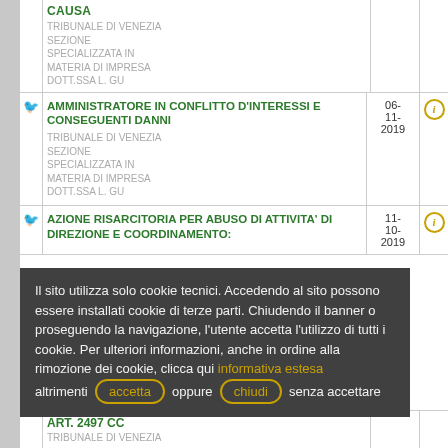| CAUSA | Data |  |
| --- | --- | --- |
| TRIBUNALE DI VENEZIA SEZIONE SPECIALIZZATA IN MATERIA DI IMPRESA dott.ssa L. Gu |  |  |
| AMMINISTRATORE IN CONFLITTO D'INTERESSI E CONSEGUENTI DANNI
TRIBUNALE DI VENEZIA SEZIONE SPECIALIZZATA IN MATERIA DI IMPRESA dott.ssa L. Gu | 06-11-2019 | i |
| AZIONE RISARCITORIA PER ABUSO DI ATTIVITA' DI DIREZIONE E COORDINAMENTO: | 11-10-2019 | i |
| ART. 2497 CC
TRIBUNALE DI VENEZIA |  |  |
Il sito utilizza solo cookie tecnici. Accedendo al sito possono essere installati cookie di terze parti. Chiudendo il banner o proseguendo la navigazione, l'utente accetta l'utilizzo di tutti i cookie. Per ulteriori informazioni, anche in ordine alla rimozione dei cookie, clicca qui informativa estesa altrimenti accetta oppure chiudi senza accettare